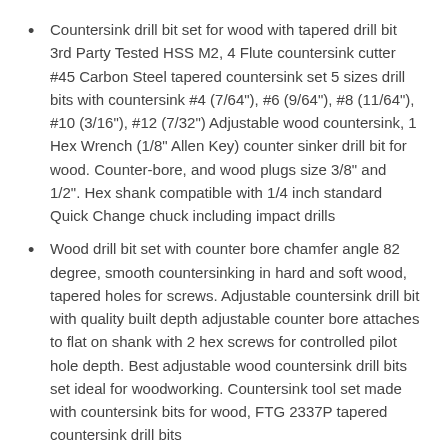Countersink drill bit set for wood with tapered drill bit 3rd Party Tested HSS M2, 4 Flute countersink cutter #45 Carbon Steel tapered countersink set 5 sizes drill bits with countersink #4 (7/64"), #6 (9/64"), #8 (11/64"), #10 (3/16"), #12 (7/32") Adjustable wood countersink, 1 Hex Wrench (1/8" Allen Key) counter sinker drill bit for wood. Counter-bore, and wood plugs size 3/8" and 1/2". Hex shank compatible with 1/4 inch standard Quick Change chuck including impact drills
Wood drill bit set with counter bore chamfer angle 82 degree, smooth countersinking in hard and soft wood, tapered holes for screws. Adjustable countersink drill bit with quality built depth adjustable counter bore attaches to flat on shank with 2 hex screws for controlled pilot hole depth. Best adjustable wood countersink drill bits set ideal for woodworking. Countersink tool set made with countersink bits for wood, FTG 2337P tapered countersink drill bits
Tapered drill bits and the countersink bits for drilling for screws...